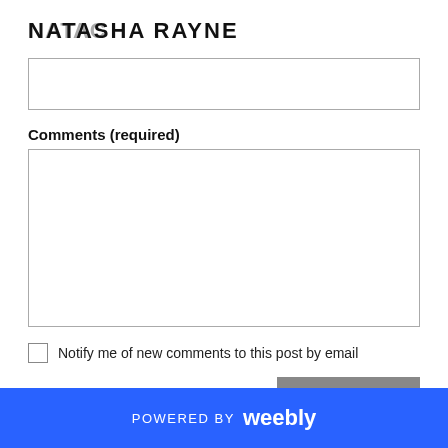NATASHA RAYNE
[Figure (screenshot): Empty text input box for name field]
Comments (required)
[Figure (screenshot): Large empty textarea for comments]
Notify me of new comments to this post by email
SUBMIT
POWERED BY weebly